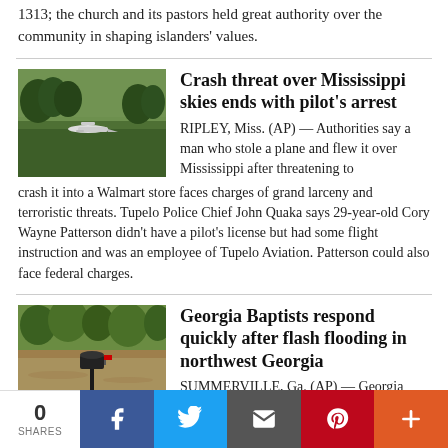1313; the church and its pastors held great authority over the community in shaping islanders' values.
Crash threat over Mississippi skies ends with pilot's arrest
[Figure (photo): Photo of a small plane landed in a green field]
RIPLEY, Miss. (AP) — Authorities say a man who stole a plane and flew it over Mississippi after threatening to crash it into a Walmart store faces charges of grand larceny and terroristic threats. Tupelo Police Chief John Quaka says 29-year-old Cory Wayne Patterson didn't have a pilot's license but had some flight instruction and was an employee of Tupelo Aviation. Patterson could also face federal charges.
Georgia Baptists respond quickly after flash flooding in northwest Georgia
[Figure (photo): Photo of a flooded area with a mailbox partially submerged in floodwater]
SUMMERVILLE, Ga. (AP) — Georgia
0 SHARES